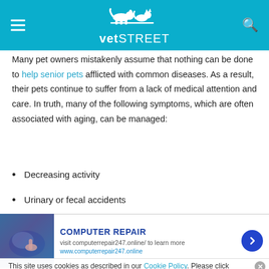vetSTREET
Many pet owners mistakenly assume that nothing can be done to help senior pets afflicted with common diseases. As a result, their pets continue to suffer from a lack of medical attention and care. In truth, many of the following symptoms, which are often associated with aging, can be managed:
Decreasing activity
Urinary or fecal accidents
[faded/obscured]
[faded/obscured]
This site uses cookies as described in our Cookie Policy. Please click
[Figure (advertisement): COMPUTER REPAIR ad banner with computer image, text: visit computerrepair247.online/ to learn more, www.computerrepair247.online, with blue circle arrow button]